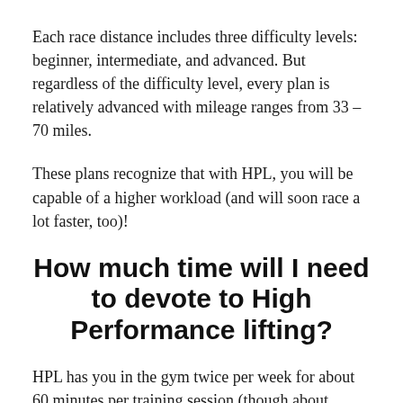Each race distance includes three difficulty levels: beginner, intermediate, and advanced. But regardless of the difficulty level, every plan is relatively advanced with mileage ranges from 33 – 70 miles.
These plans recognize that with HPL, you will be capable of a higher workload (and will soon race a lot faster, too)!
How much time will I need to devote to High Performance lifting?
HPL has you in the gym twice per week for about 60 minutes per training session (though about